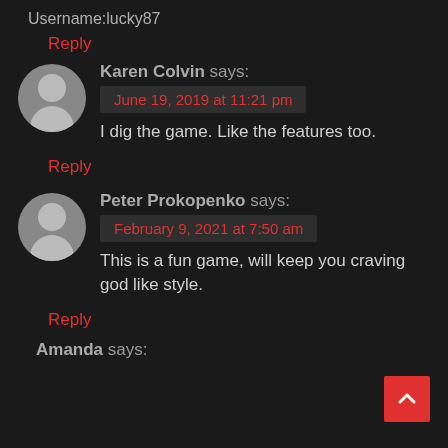Username:lucky87
Reply
Karen Colvin says:
June 19, 2019 at 11:21 pm
I dig the game. Like the features too.
Reply
Peter Prokopenko says:
February 9, 2021 at 7:50 am
This is a fun game, will keep you craving god like style.
Reply
Amanda says: